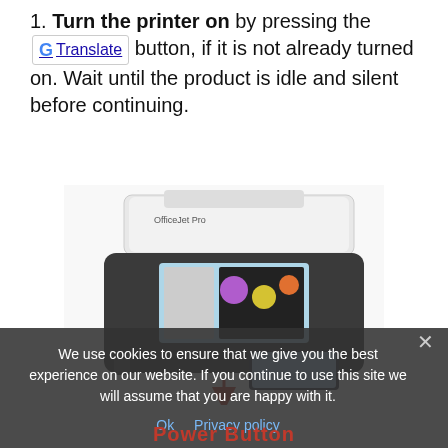1. Turn the printer on by pressing the [Translate] button, if it is not already turned on. Wait until the product is idle and silent before continuing.
[Figure (photo): Photo of an HP OfficeJet Pro all-in-one printer with touchscreen display, shown at an angle. Below the printer a red arrow points downward toward a 'Power Button' label.]
We use cookies to ensure that we give you the best experience on our website. If you continue to use this site we will assume that you are happy with it.
Ok   Privacy policy